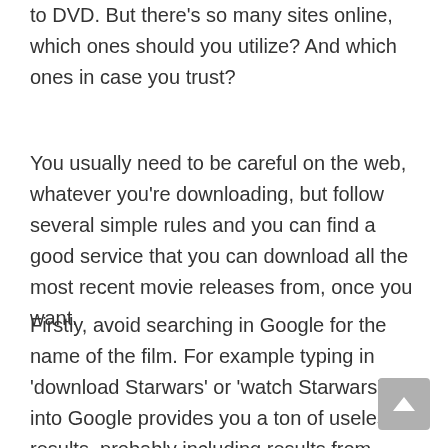to DVD. But there's so many sites online, which ones should you utilize? And which ones in case you trust?
You usually need to be careful on the web, whatever you're downloading, but follow several simple rules and you can find a good service that you can download all the most recent movie releases from, once you want.
Firstly, avoid searching in Google for the name of the film. For example typing in 'download Starwars' or 'watch Starwars' into Google provides you a ton of useless results, probably including results from torrent sites □□□□□□□□□□. You should also avoid downloading from torrent sites since the file...